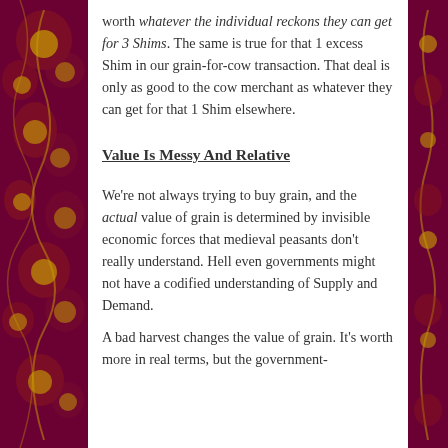worth whatever the individual reckons they can get for 3 Shims. The same is true for that 1 excess Shim in our grain-for-cow transaction. That deal is only as good to the cow merchant as whatever they can get for that 1 Shim elsewhere.
Value Is Messy And Relative
We're not always trying to buy grain, and the actual value of grain is determined by invisible economic forces that medieval peasants don't really understand. Hell even governments might not have a codified understanding of Supply and Demand.
A bad harvest changes the value of grain. It's worth more in real terms, but the government-